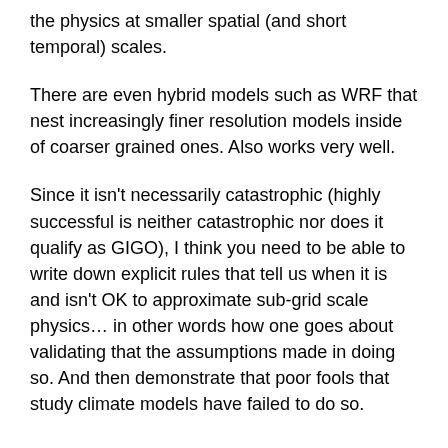the physics at smaller spatial (and short temporal) scales.
There are even hybrid models such as WRF that nest increasingly finer resolution models inside of coarser grained ones. Also works very well.
Since it isn't necessarily catastrophic (highly successful is neither catastrophic nor does it qualify as GIGO), I think you need to be able to write down explicit rules that tell us when it is and isn't OK to approximate sub-grid scale physics… in other words how one goes about validating that the assumptions made in doing so. And then demonstrate that poor fools that study climate models have failed to do so.